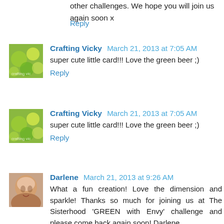challenges but our rules clearly state a maximum of 3 other challenges. We hope you will join us again soon x
Reply
Crafting Vicky  March 21, 2013 at 7:05 AM
super cute little card!!! Love the green beer ;)
Reply
Crafting Vicky  March 21, 2013 at 7:05 AM
super cute little card!!! Love the green beer ;)
Reply
Darlene  March 21, 2013 at 9:26 AM
What a fun creation! Love the dimension and sparkle! Thanks so much for joining us at The Sisterhood 'GREEN with Envy' challenge and please come back again soon! Darlene